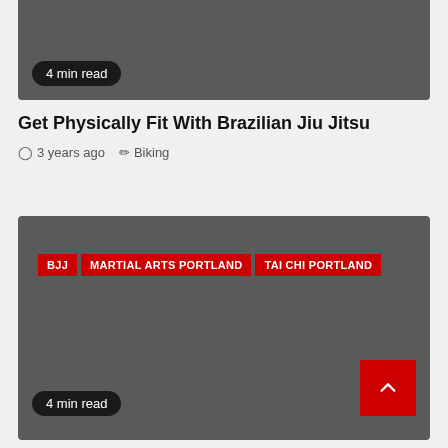[Figure (photo): Dark gray image card at top with '4 min read' badge]
4 min read
Get Physically Fit With Brazilian Jiu Jitsu
3 years ago   Biking
[Figure (photo): Dark gray image card with BJJ, MARTIAL ARTS PORTLAND, TAI CHI PORTLAND tags and '4 min read' badge, plus back-to-top button]
BJJ
MARTIAL ARTS PORTLAND
TAI CHI PORTLAND
4 min read